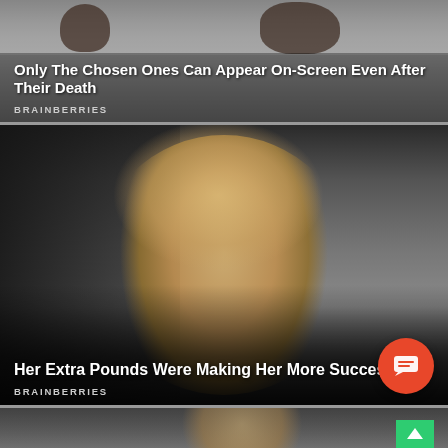[Figure (photo): Top card: dark background with partially visible figures, overlaid with article title and Brainberries brand label]
Only The Chosen Ones Can Appear On-Screen Even After Their Death
BRAINBERRIES
[Figure (photo): Middle card: photo of a blonde woman with heavy makeup wearing a black outfit, with a man in black visible to the left]
Her Extra Pounds Were Making Her More Successful?
BRAINBERRIES
[Figure (photo): Partial bottom card: top of a person's head is partially visible, cut off by edge of page]